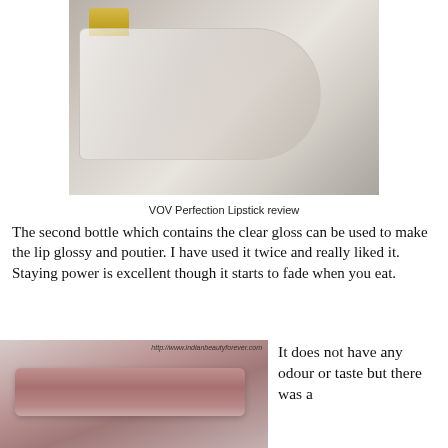[Figure (photo): Close-up photo of a clear lip gloss tube with a gold cap on a gray background]
VOV Perfection Lipstick review
The second bottle which contains the clear gloss can be used to make the lip glossy and poutier. I have used it twice and really liked it. Staying power is excellent though it starts to fade when you eat.
[Figure (photo): Swatch of a mauve/pink lipstick color on a white surface, with watermark http://www.indianbeautyforever.com]
It does not have any odour or taste but there was a